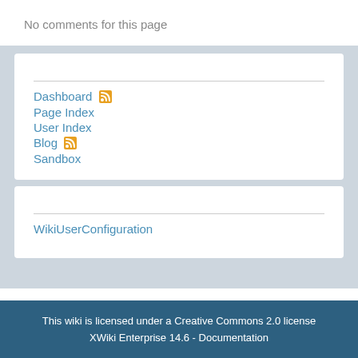No comments for this page
Dashboard
Page Index
User Index
Blog
Sandbox
WikiUserConfiguration
This wiki is licensed under a Creative Commons 2.0 license
XWiki Enterprise 14.6 - Documentation